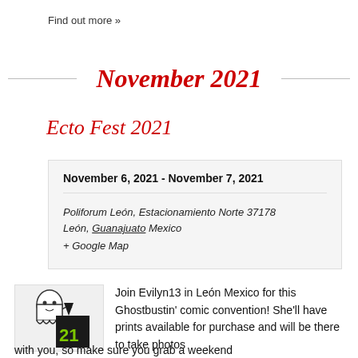Find out more »
November 2021
Ecto Fest 2021
| November 6, 2021 - November 7, 2021 |
| Poliforum León, Estacionamiento Norte 37178
León, Guanajuato Mexico
+ Google Map |
[Figure (illustration): Ghostbusters-style cartoon ghost character leaning against a black building with green number 21]
Join Evilyn13 in León Mexico for this Ghostbustin' comic convention! She'll have prints available for purchase and will be there to take photos with you, so make sure you grab a weekend